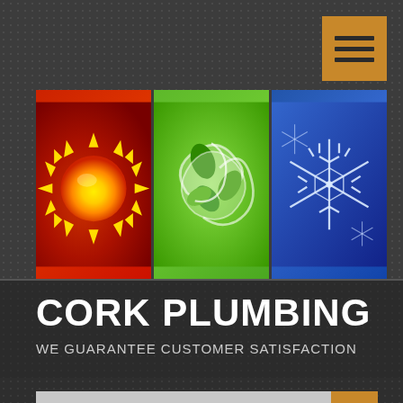[Figure (logo): Hamburger menu icon with three horizontal lines on an orange/tan square background]
[Figure (illustration): Three icon images side by side: a bright yellow sun on red/gradient background, a green wind/leaves swirl on green background, and a white snowflake on blue background]
CORK PLUMBING
WE GUARANTEE CUSTOMER SATISFACTION
[Figure (other): Search bar with placeholder text 'Search...' and an orange search button with magnifying glass icon]
leaks